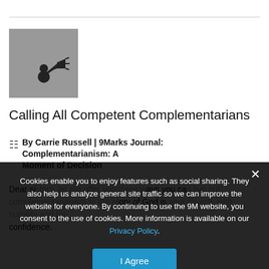[Figure (photo): Small grayscale thumbnail image showing a figure with a megaphone/loudspeaker on a gray background]
Calling All Competent Complementarians
By Carrie Russell | 9Marks Journal: Complementarianism: A Moment of Decision
Dear sisters, let me offer you three ways you can live out complementarianism to the glory of God is your church, with humility and confidence.
Cookies enable you to enjoy features such as social sharing. They also help us analyze general site traffic so we can improve the website for everyone. By continuing to use the 9M website, you consent to the use of cookies. More information is available on our Privacy Policy.
I Agree